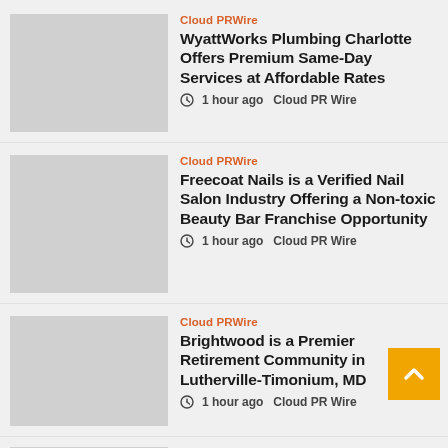[Figure (other): Thumbnail placeholder image (gray box)]
Cloud PRWire
WyattWorks Plumbing Charlotte Offers Premium Same-Day Services at Affordable Rates
1 hour ago  Cloud PR Wire
[Figure (other): Thumbnail placeholder image (gray box)]
Cloud PRWire
Freecoat Nails is a Verified Nail Salon Industry Offering a Non-toxic Beauty Bar Franchise Opportunity
1 hour ago  Cloud PR Wire
[Figure (other): Thumbnail placeholder image (gray box)]
Cloud PRWire
Brightwood is a Premier Retirement Community in Lutherville-Timonium, MD
1 hour ago  Cloud PR Wire